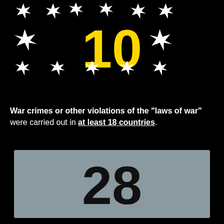[Figure (infographic): Top section with large yellow number 10 surrounded by white explosion/starburst icons on black background]
War crimes or other violations of the “laws of war” were carried out in at least 18 countries.
[Figure (infographic): Gray box with large black number 28 overlaid on a grid of yellow human figure icons (people icons), representing 28 people or entities]